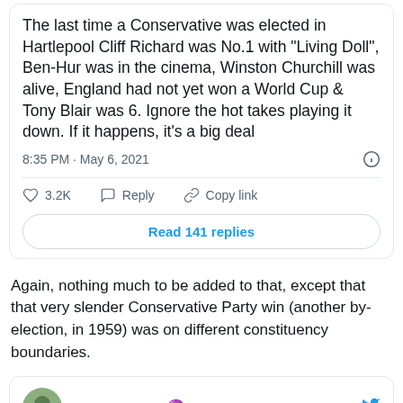[Figure (screenshot): Tweet screenshot: 'The last time a Conservative was elected in Hartlepool Cliff Richard was No.1 with "Living Doll", Ben-Hur was in the cinema, Winston Churchill was alive, England had not yet won a World Cup & Tony Blair was 6. Ignore the hot takes playing it down. If it happens, it's a big deal' — 8:35 PM · May 6, 2021 — 3.2K likes, Reply, Copy link, Read 141 replies]
Again, nothing much to be added to that, except that that very slender Conservative Party win (another by-election, in 1959) was on different constituency boundaries.
[Figure (screenshot): Partial tweet card showing avatar and name 'Steve Lansley' with purple emoji and Twitter bird icon]